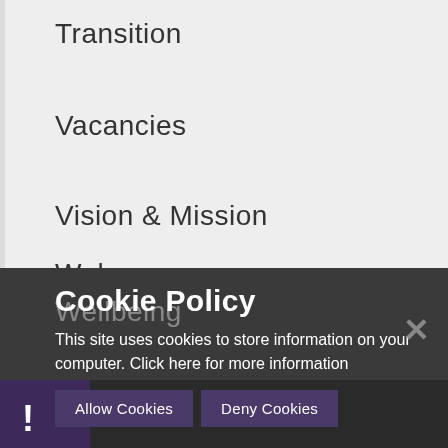Transition
Vacancies
Vision & Mission
Welcome
Wellbeing
Cookie Policy
This site uses cookies to store information on your computer. Click here for more information
Allow Cookies
Deny Cookies